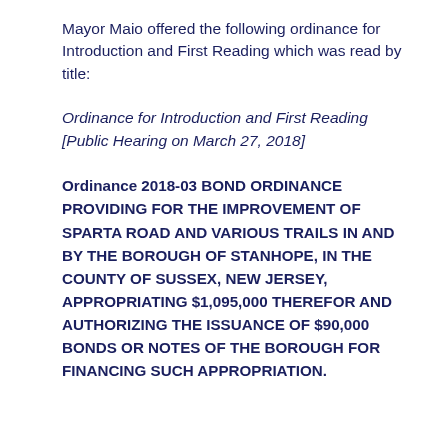Mayor Maio offered the following ordinance for Introduction and First Reading which was read by title:
Ordinance for Introduction and First Reading [Public Hearing on March 27, 2018]
Ordinance 2018-03 BOND ORDINANCE PROVIDING FOR THE IMPROVEMENT OF SPARTA ROAD AND VARIOUS TRAILS IN AND BY THE BOROUGH OF STANHOPE, IN THE COUNTY OF SUSSEX, NEW JERSEY, APPROPRIATING $1,095,000 THEREFOR AND AUTHORIZING THE ISSUANCE OF $90,000 BONDS OR NOTES OF THE BOROUGH FOR FINANCING SUCH APPROPRIATION.